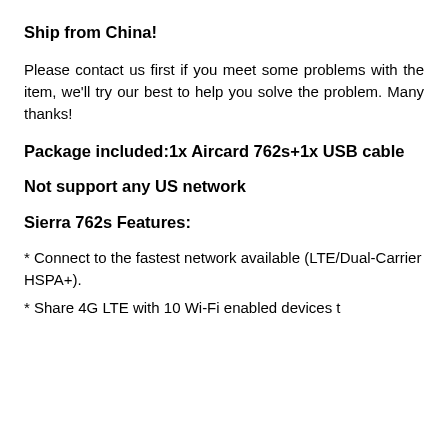Ship from China!
Please contact us first if you meet some problems with the item, we'll try our best to help you solve the problem. Many thanks!
Package included:1x Aircard 762s+1x USB cable
Not support any US network
Sierra 762s Features:
* Connect to the fastest network available (LTE/Dual-Carrier HSPA+).
* Share 4G LTE with 10 Wi-Fi enabled devices t